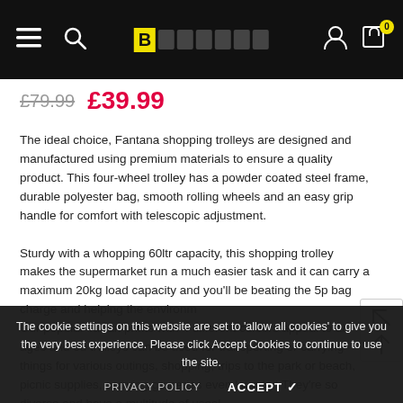Navigation header with menu, search, logo, account and cart icons
£79.99 £39.99
The ideal choice, Fantana shopping trolleys are designed and manufactured using premium materials to ensure a quality product. This four-wheel trolley has a powder coated steel frame, durable polyester bag, smooth rolling wheels and an easy grip handle for comfort with telescopic adjustment. Sturdy with a whopping 60ltr capacity, this shopping trolley makes the supermarket run a much easier task and it can carry a maximum 20kg load capacity and you'll be beating the 5p bag charge and helping the environm Our popular Tartan prints with 4 different colours appeal to all ages and ou trolleys can be used for transporting or carrying things for various outings, shopping, trips to the park or beach, picnic supplies, carrying groceries even laundry! They're so diverse and have a multitude of uses!
The cookie settings on this website are set to 'allow all cookies' to give you the very best experience. Please click Accept Cookies to continue to use the site.
PRIVACY POLICY    ACCEPT ✓